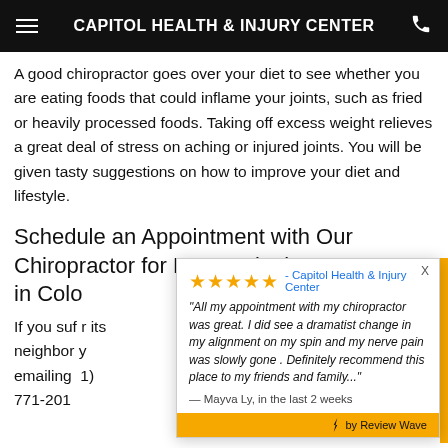CAPITOL HEALTH & INJURY CENTER
A good chiropractor goes over your diet to see whether you are eating foods that could inflame your joints, such as fried or heavily processed foods. Taking off excess weight relieves a great deal of stress on aching or injured joints. You will be given tasty suggestions on how to improve your diet and lifestyle.
Schedule an Appointment with Our Chiropractor for Personal Injury Treatment in Colo
If you suf... its neighbor... emailing ... 771-201...
[Figure (screenshot): Review popup overlay showing 5-star rating for Capitol Health & Injury Center with a quote from Mayva Ly: 'All my appointment with my chiropractor was great. I did see a dramatist change in my alignment on my spin and my nerve pain was slowly gone. Definitely recommend this place to my friends and family...' — Mayva Ly, in the last 2 weeks. Powered by Review Wave.]